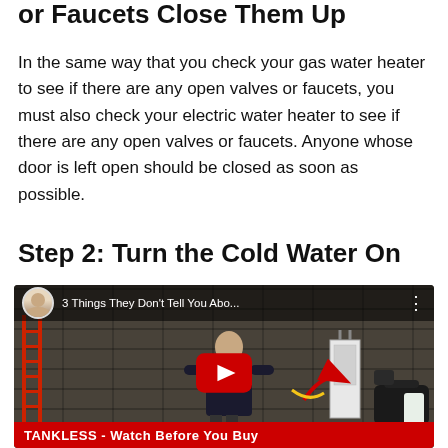or Faucets Close Them Up
In the same way that you check your gas water heater to see if there are any open valves or faucets, you must also check your electric water heater to see if there are any open valves or faucets. Anyone whose door is left open should be closed as soon as possible.
Step 2: Turn the Cold Water On
[Figure (screenshot): YouTube video thumbnail showing a man in a dark polo shirt standing in front of a brick wall with a red ladder, a tankless water heater, and equipment bags. The video title reads '3 Things They Don't Tell You Abo...' with a YouTube play button in the center and a red banner at the bottom reading 'TANKLESS - Watch Before You Buy'.]